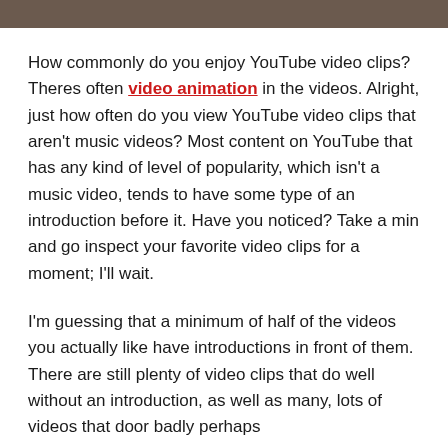[Figure (photo): Cropped image strip at the top of the page, showing a dark brownish photo partially visible]
How commonly do you enjoy YouTube video clips? Theres often video animation in the videos. Alright, just how often do you view YouTube video clips that aren't music videos? Most content on YouTube that has any kind of level of popularity, which isn't a music video, tends to have some type of an introduction before it. Have you noticed? Take a min and go inspect your favorite video clips for a moment; I'll wait.
I'm guessing that a minimum of half of the videos you actually like have introductions in front of them. There are still plenty of video clips that do well without an introduction, as well as many, lots of videos that door badly perhaps because of that intro absent...